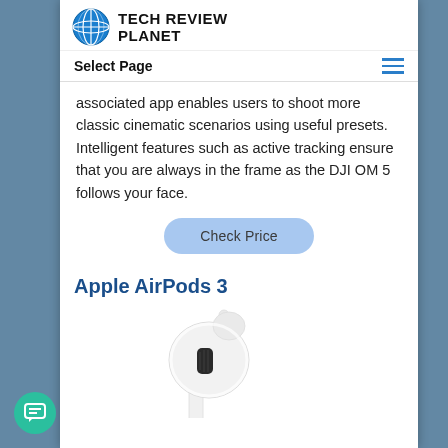TECH REVIEW PLANET
Select Page
associated app enables users to shoot more classic cinematic scenarios using useful presets. Intelligent features such as active tracking ensure that you are always in the frame as the DJI OM 5 follows your face.
Check Price
Apple AirPods 3
[Figure (photo): Close-up photo of Apple AirPods 3 white earbuds]